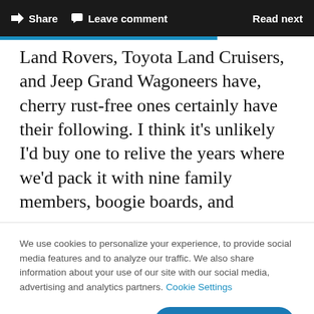Share   Leave comment   Read next
Land Rovers, Toyota Land Cruisers, and Jeep Grand Wagoneers have, cherry rust-free ones certainly have their following. I think it’s unlikely I’d buy one to relive the years where we’d pack it with nine family members, boogie boards, and
We use cookies to personalize your experience, to provide social media features and to analyze our traffic. We also share information about your use of our site with our social media, advertising and analytics partners. Cookie Settings
Accept all cookies